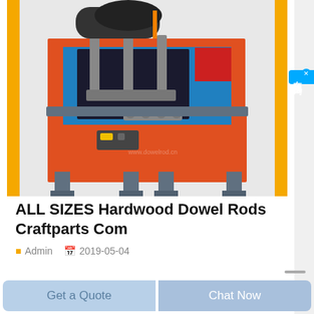[Figure (photo): Industrial machine — orange and blue metal dowel rod making machine with hydraulic press mechanism, mounted on steel frame legs, with yellow vertical border strips on left and right sides of the image]
ALL SIZES Hardwood Dowel Rods Craftparts Com
Admin  2019-05-04